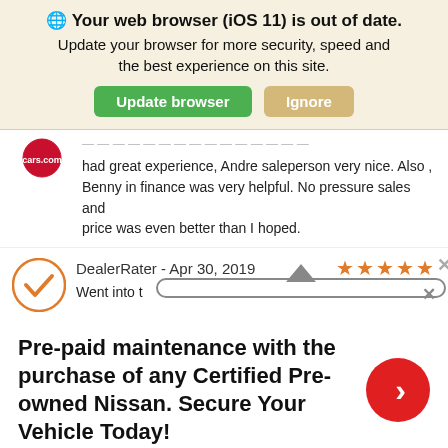🌐 Your web browser (iOS 11) is out of date. Update your browser for more security, speed and the best experience on this site. [Update browser] [Ignore]
had great experience, Andre saleperson very nice. Also , Benny in finance was very helpful. No pressure sales and price was even better than I hoped.
DealerRater - Apr 30, 2019 ★★★★★
Went into th
Pre-paid maintenance with the purchase of any Certified Pre-owned Nissan. Secure Your Vehicle Today!